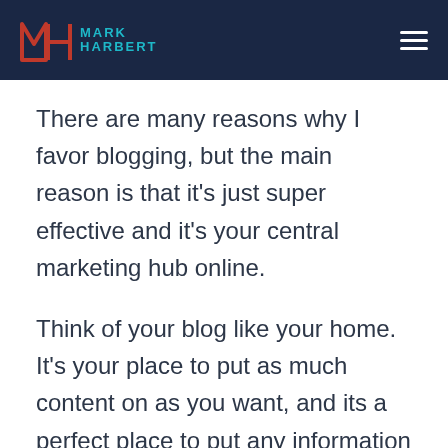Mark Harbert
There are many reasons why I favor blogging, but the main reason is that it's just super effective and it's your central marketing hub online.
Think of your blog like your home. It's your place to put as much content on as you want, and its a perfect place to put any information regarding programs you promote.